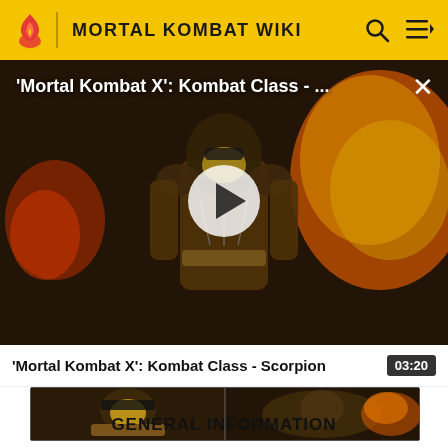MORTAL KOMBAT WIKI
[Figure (screenshot): Video player showing Mortal Kombat X Scorpion character in combat with fire effects, paused with play button visible. Title overlay reads: 'Mortal Kombat X': Kombat Class - ...]
'Mortal Kombat X': Kombat Class - Scorpion  03:20
[Figure (screenshot): Thumbnail strip showing Scorpion character close-up from Mortal Kombat X]
GENERAL INFORMATION